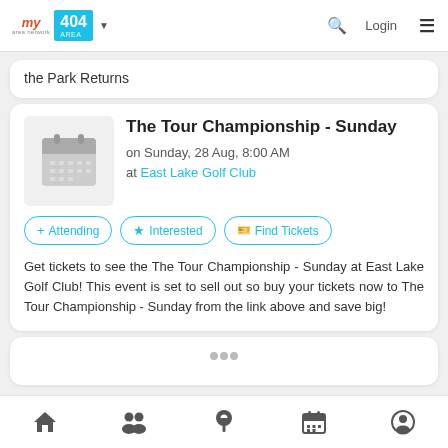myarea network | 404 AREA | Login
the Park Returns
The Tour Championship - Sunday
on Sunday, 28 Aug, 8:00 AM
at East Lake Golf Club
+ Attending   ★ Interested   🎫 Find Tickets
Get tickets to see the The Tour Championship - Sunday at East Lake Golf Club! This event is set to sell out so buy your tickets now to The Tour Championship - Sunday from the link above and save big!
Home | People | Location | Events | Profile